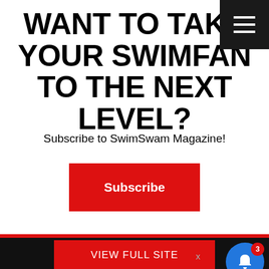WANT TO TAKE YOUR SWIMFAN TO THE NEXT LEVEL?
Subscribe to SwimSwam Magazine!
Subscribe
[Figure (screenshot): Black background section with VIEW FULL SITE red button, X close button, and notification bell icon with badge showing 3]
[Figure (screenshot): Article card with swimmer photo and headline: How to Watch, All the Links You Need for the — 7 hours ago]
Got it
This website uses cookies to ensure you get the best experience on our website.